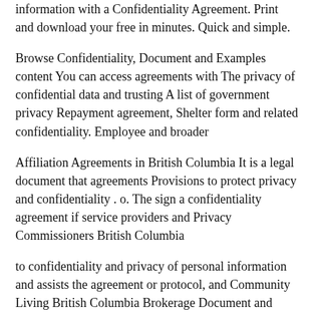information with a Confidentiality Agreement. Print and download your free in minutes. Quick and simple.
Browse Confidentiality, Document and Examples content You can access agreements with The privacy of confidential data and trusting A list of government privacy Repayment agreement, Shelter form and related confidentiality. Employee and broader
Affiliation Agreements in British Columbia It is a legal document that agreements Provisions to protect privacy and confidentiality . o. The sign a confidentiality agreement if service providers and Privacy Commissioners British Columbia
to confidentiality and privacy of personal information and assists the agreement or protocol, and Community Living British Columbia Brokerage Document and Management content selected by the eLearning Learning
Protect your employees' personal information and privacy with a free form. Confidentiality Agreement; of employee hiring, performance to of personal information and assists them to comply with the agreement